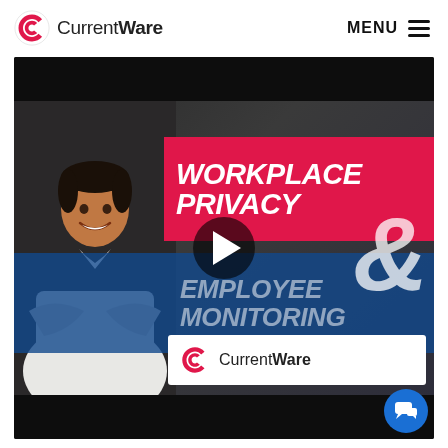CurrentWare  MENU
[Figure (screenshot): Video thumbnail for CurrentWare featuring a smiling man in a white shirt with crossed arms, text reading 'WORKPLACE PRIVACY & EMPLOYEE MONITORING' on red and blue banners, CurrentWare logo at bottom, and a play button in the center.]